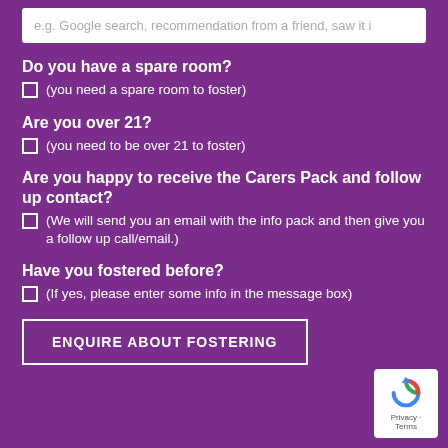e.g. Google search, recommendation from a friend, saw it i
Do you have a spare room?
(you need a spare room to foster)
Are you over 21?
(you need to be over 21 to foster)
Are you happy to receive the Carers Pack and follow up contact?
(We will send you an email with the info pack and then give you a follow up call/email.)
Have you fostered before?
(If yes, please enter some info in the message box)
ENQUIRE ABOUT FOSTERING
[Figure (logo): reCAPTCHA badge with Privacy and Terms links]